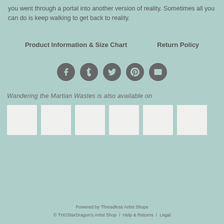you went through a portal into another version of reality. Sometimes all you can do is keep walking to get back to reality.
Product Information & Size Chart     Return Policy
[Figure (infographic): Row of 5 social media icon circles: Facebook, Tumblr, Twitter, Pinterest, Email]
Wandering the Martian Wastes is also available on
[Figure (infographic): Six white thumbnail image placeholders in a row]
Powered by Threadless Artist Shops
© THGStarDragon's Artist Shop / Help & Returns / Legal